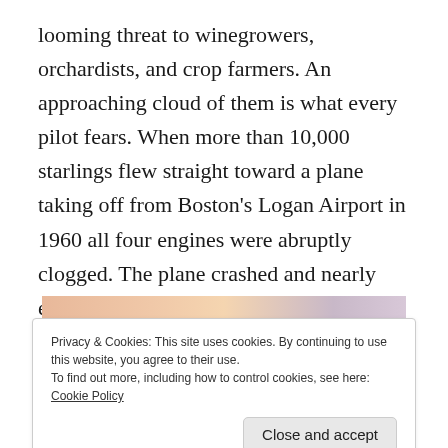looming threat to winegrowers, orchardists, and crop farmers. An approaching cloud of them is what every pilot fears. When more than 10,000 starlings flew straight toward a plane taking off from Boston's Logan Airport in 1960 all four engines were abruptly clogged. The plane crashed and nearly every passenger died. Yet I'd been marveling over their agility, grace, and intelligence.
[Figure (photo): Partial view of an image strip showing warm peach/orange and muted purple tones, partially covered by a cookie consent banner]
Privacy & Cookies: This site uses cookies. By continuing to use this website, you agree to their use.
To find out more, including how to control cookies, see here: Cookie Policy
Close and accept